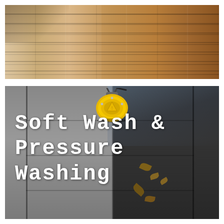[Figure (photo): Close-up photo of a wooden deck/decking boards being cleaned, showing contrast between dirty/weathered side (left, lighter grey-brown) and clean/restored side (right, rich warm brown wood grain).]
[Figure (photo): Before and after photo of a concrete pathway being pressure washed. Left half shows clean, lighter grey concrete. Right half shows darker, dirty wet concrete with fallen leaves scattered around. A yellow circular surface cleaner/pressure washer attachment is visible at the top center. Grass and soil borders on both sides.]
Soft Wash & Pressure Washing